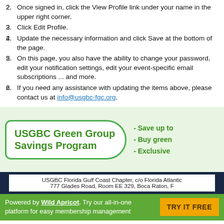2. Once signed in, click the View Profile link under your name in the upper right corner.
3. Click Edit Profile.
4. Update the necessary information and click Save at the bottom of the page.
5. On this page, you also have the ability to change your password, edit your notification settings, edit your event-specific email subscriptions ... and more.
6. If you need any assistance with updating the items above, please contact us at info@usgbc-fgc.org.
[Figure (infographic): USGBC Green Group Savings Program banner with green border badge and bullet points: Save up to, Buy green, Exclusive]
USGBC Florida Gulf Coast Chapter, c/o Florida Atlantic... 777 Glades Road, Room EE 329, Boca Raton, ...
Powered by Wild Apricot. Try our all-in-one platform for easy membership management   TRY IT FREE